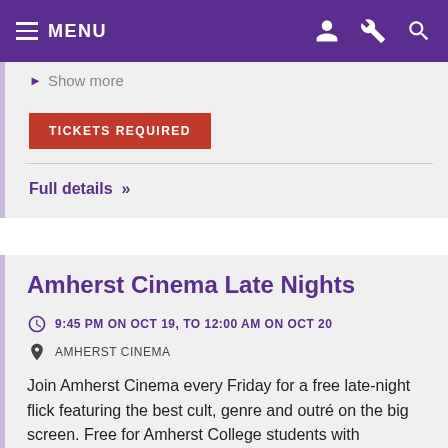MENU
Show more
TICKETS REQUIRED
Full details »
Amherst Cinema Late Nights
9:45 PM ON OCT 19, TO 12:00 AM ON OCT 20
AMHERST CINEMA
Join Amherst Cinema every Friday for a free late-night flick featuring the best cult, genre and outré on the big screen. Free for Amherst College students with presentation of student ID at box office. Visit the...